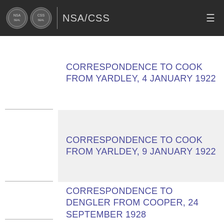NSA/CSS
CORRESPONDENCE TO COOK FROM YARDLEY, 4 JANUARY 1922
CORRESPONDENCE TO COOK FROM YARLDEY, 9 JANUARY 1922
CORRESPONDENCE TO DENGLER FROM COOPER, 24 SEPTEMBER 1928